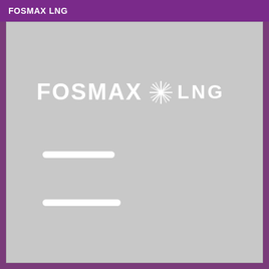FOSMAX LNG
[Figure (logo): FOSMAX LNG logo on a grey background with white stylized text reading FOSMAX with a star/asterisk symbol followed by LNG. Two white horizontal bars appear below the logo text.]